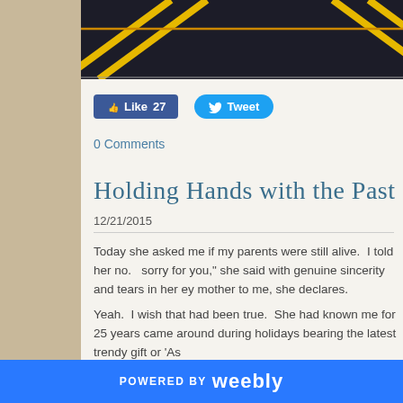[Figure (photo): A dark asphalt parking lot surface with yellow diagonal parking lines visible, cropped view from above.]
Like 27   Tweet
0 Comments
Holding Hands with the Past
12/21/2015
Today she asked me if my parents were still alive.  I told her no.  sorry for you," she said with genuine sincerity and tears in her ey mother to me, she declares.
Yeah.  I wish that had been true.  She had known me for 25 years came around during holidays bearing the latest trendy gift or 'As
POWERED BY weebly